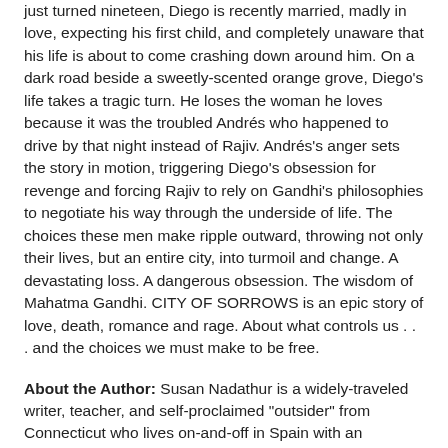just turned nineteen, Diego is recently married, madly in love, expecting his first child, and completely unaware that his life is about to come crashing down around him. On a dark road beside a sweetly-scented orange grove, Diego's life takes a tragic turn. He loses the woman he loves because it was the troubled Andrés who happened to drive by that night instead of Rajiv. Andrés's anger sets the story in motion, triggering Diego's obsession for revenge and forcing Rajiv to rely on Gandhi's philosophies to negotiate his way through the underside of life. The choices these men make ripple outward, throwing not only their lives, but an entire city, into turmoil and change. A devastating loss. A dangerous obsession. The wisdom of Mahatma Gandhi. CITY OF SORROWS is an epic story of love, death, romance and rage. About what controls us . . . and the choices we must make to be free.
About the Author: Susan Nadathur is a widely-traveled writer, teacher, and self-proclaimed "outsider" from Connecticut who lives on-and-off in Spain with an extended family of Gypsies in Seville. By day, she writes fictional stories set in painfully real worlds. By night, you'll find her blogging about the challenges and rewards of being different at www.labelmedifferent.wordpress.com. She resides with her